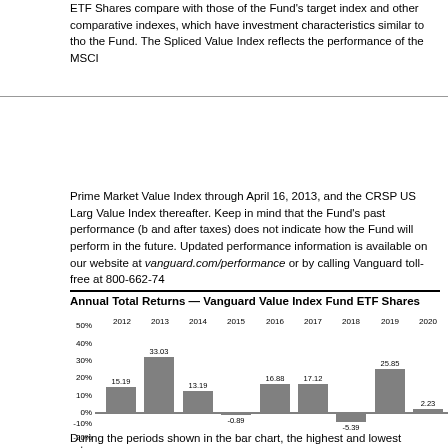ETF Shares compare with those of the Fund's target index and other comparative indexes, which have investment characteristics similar to those of the Fund. The Spliced Value Index reflects the performance of the MSCI
Prime Market Value Index through April 16, 2013, and the CRSP US Large Value Index thereafter. Keep in mind that the Fund's past performance (before and after taxes) does not indicate how the Fund will perform in the future. Updated performance information is available on our website at vanguard.com/performance or by calling Vanguard toll-free at 800-662-74
[Figure (bar-chart): Annual Total Returns — Vanguard Value Index Fund ETF Shares]
During the periods shown in the bar chart, the highest and lowest returns